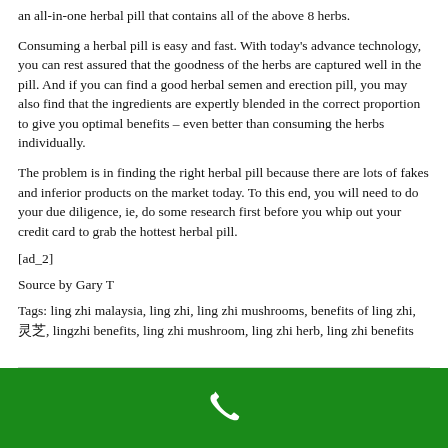an all-in-one herbal pill that contains all of the above 8 herbs.
Consuming a herbal pill is easy and fast. With today's advance technology, you can rest assured that the goodness of the herbs are captured well in the pill. And if you can find a good herbal semen and erection pill, you may also find that the ingredients are expertly blended in the correct proportion to give you optimal benefits – even better than consuming the herbs individually.
The problem is in finding the right herbal pill because there are lots of fakes and inferior products on the market today. To this end, you will need to do your due diligence, ie, do some research first before you whip out your credit card to grab the hottest herbal pill.
[ad_2]
Source by Gary T
Tags: ling zhi malaysia, ling zhi, ling zhi mushrooms, benefits of ling zhi, 灵芝, lingzhi benefits, ling zhi mushroom, ling zhi herb, ling zhi benefits
[Figure (other): Green footer bar with a white phone/call icon in the center]